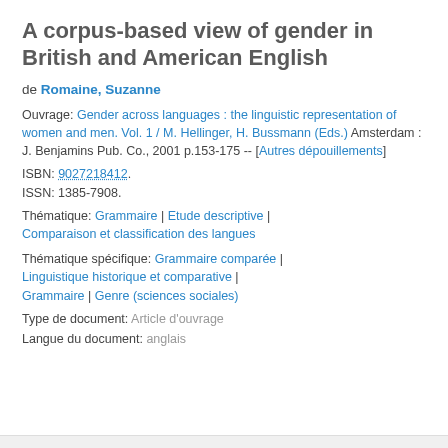A corpus-based view of gender in British and American English
de Romaine, Suzanne
Ouvrage: Gender across languages : the linguistic representation of women and men. Vol. 1 / M. Hellinger, H. Bussmann (Eds.) Amsterdam : J. Benjamins Pub. Co., 2001 p.153-175 -- [Autres dépouillements]
ISBN: 9027218412.
ISSN: 1385-7908.
Thématique: Grammaire | Etude descriptive | Comparaison et classification des langues
Thématique spécifique: Grammaire comparée | Linguistique historique et comparative | Grammaire | Genre (sciences sociales)
Type de document: Article d'ouvrage
Langue du document: anglais